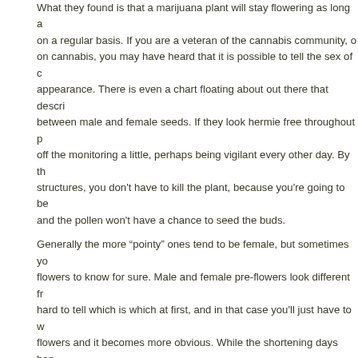What they found is that a marijuana plant will stay flowering as long as on a regular basis. If you are a veteran of the cannabis community, or on cannabis, you may have heard that it is possible to tell the sex of c appearance. There is even a chart floating about out there that descri between male and female seeds. If they look hermie free throughout p off the monitoring a little, perhaps being vigilant every other day. By th structures, you don't have to kill the plant, because you're going to be and the pollen won't have a chance to seed the buds.
Generally the more “pointy” ones tend to be female, but sometimes yo flowers to know for sure. Male and female pre-flowers look different fr hard to tell which is which at first, and in that case you'll just have to w flowers and it becomes more obvious. While the shortening days hap plants will detect the shorter light phase quite quickly indoors, sometim Usually within three to 10 days, the plants will reveal their sex.
BUY CBD OIL TINCTURE IN JO
It is recommended to remove hermaphrodite sprouts in order to avoid male provides up to 50% of a seed’s genetic makeup. Therefore, sele qualities in your garden for breeding new strains. Use your males to p future generations. The challenge here is being able to find non-cann mixture. If you have 500 pounds of cannabis plants for disposal, that r waste to mix in.